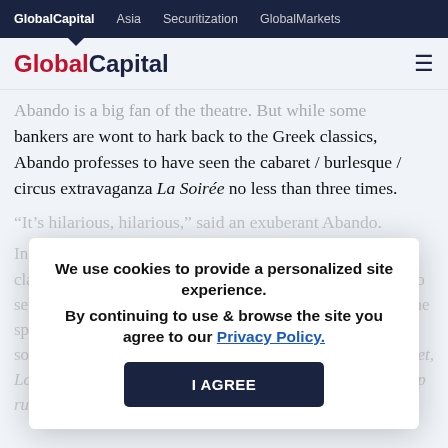GlobalCapital  Asia  Securitization  GlobalMarkets
[Figure (logo): GlobalCapital logo with hamburger menu icon]
Abando is a big fan of the theatre. But while some bankers are wont to hark back to the Greek classics, Abando professes to have seen the cabaret / burlesque / circus extravaganza La Soirée no less than three times.
"It's hilarious, hilarious," said an exuberant Abando.
In the theme of entertainment, a former Loan Ranger who claims to have sent the last bids to GlobalCapital weeks ago set the headlines to David Bowie song titles, in honour of the space-bound rock legend. The DCM publication has never sounded so exciting. Soul is grounds for dancing in the street, Love you till Tuesday, CLTC mills reverse on a litcany, swap rules and Maxim
We use cookies to provide a personalized site experience.
By continuing to use & browse the site you agree to our Privacy Policy.
I AGREE